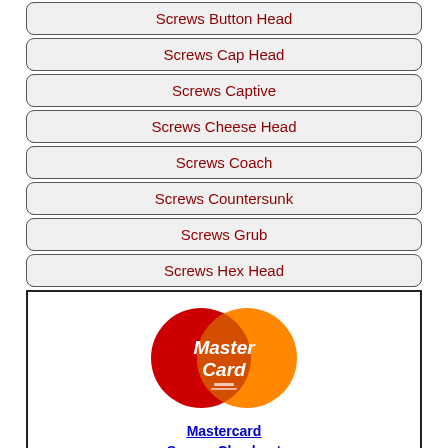Screws Button Head
Screws Cap Head
Screws Captive
Screws Cheese Head
Screws Coach
Screws Countersunk
Screws Grub
Screws Hex Head
[Figure (logo): MasterCard logo with red and orange overlapping circles and white MasterCard text]
Mastercard Secure Checkout
Screws Large Head